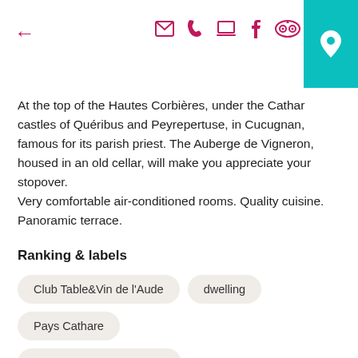← (back arrow) | email | phone | laptop | facebook | tripadvisor | location pin
At the top of the Hautes Corbières, under the Cathar castles of Quéribus and Peyrepertuse, in Cucugnan, famous for its parish priest. The Auberge de Vigneron, housed in an old cellar, will make you appreciate your stopover.
Very comfortable air-conditioned rooms. Quality cuisine. Panoramic terrace.
Ranking & labels
Club Table&Vin de l'Aude
dwelling
Pays Cathare
Vignobles et Découvertes
Spoken languages